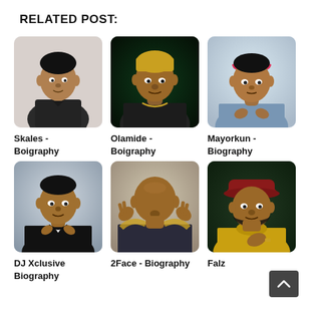RELATED POST:
[Figure (photo): Photo of Skales, a Nigerian musician, wearing a dark blazer]
Skales - Boigraphy
[Figure (photo): Photo of Olamide, a Nigerian rapper, with gold jewelry against a dark background]
Olamide - Boigraphy
[Figure (photo): Photo of Mayorkun, a Nigerian artist, wearing a pink headband and light blue jacket]
Mayorkun - Biography
[Figure (photo): Photo of DJ Xclusive wearing a black suit with bow tie]
DJ Xclusive Biography
[Figure (photo): Photo of 2Face with hands raised near face wearing glasses]
2Face - Biography
[Figure (photo): Photo of Falz wearing a yellow turtleneck and dark red hat]
Falz